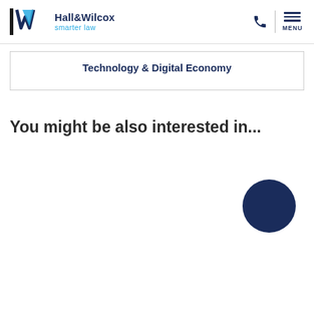Hall&Wilcox smarter law
Technology & Digital Economy
You might be also interested in...
[Figure (illustration): Dark navy blue filled circle, decorative UI element]